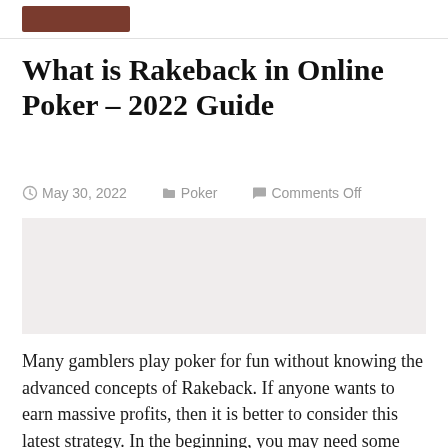What is Rakeback in Online Poker – 2022 Guide
May 30, 2022   Poker   Comments Off
[Figure (other): Advertisement or image placeholder block]
Many gamblers play poker for fun without knowing the advanced concepts of Rakeback. If anyone wants to earn massive profits, then it is better to consider this latest strategy. In the beginning, you may need some